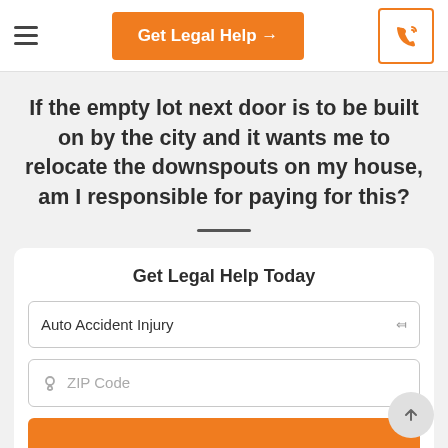Get Legal Help →
If the empty lot next door is to be built on by the city and it wants me to relocate the downspouts on my house, am I responsible for paying for this?
Get Legal Help Today
Auto Accident Injury
ZIP Code